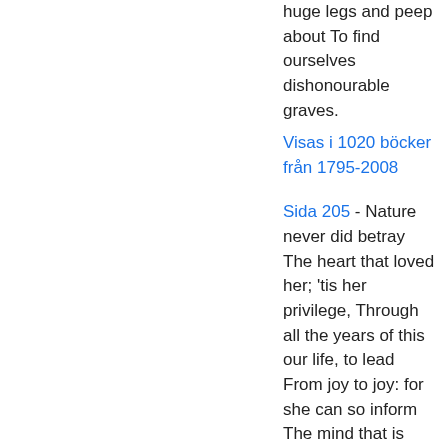huge legs and peep about To find ourselves dishonourable graves.
Visas i 1020 böcker från 1795-2008
Sida 205 - Nature never did betray The heart that loved her; 'tis her privilege, Through all the years of this our life, to lead From joy to joy: for she can so inform The mind that is within us, so impress With quietness and beauty, and so feed With lofty thoughts, that neither evil tongues, Rash judgments, nor the sneers of selfish men, Nor greetings where no kindness is, nor all The dreary intercourse of